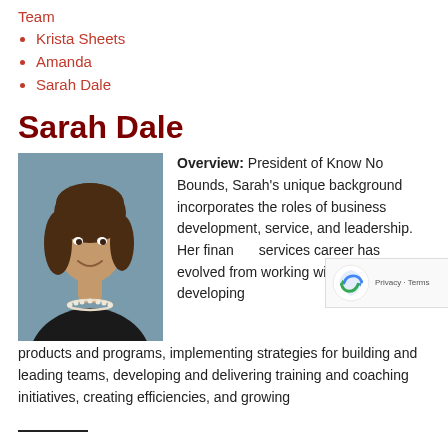Team
Krista Sheets
Amanda
Sarah Dale
Sarah Dale
[Figure (photo): Professional headshot of Sarah Dale, a woman with brown hair, wearing a dark top and pearl necklace, smiling, against a blue-grey background.]
Overview: President of Know No Bounds, Sarah's unique background incorporates the roles of business development, service, and leadership. Her financial services career has evolved from working with clients to developing products and programs, implementing strategies for building and leading teams, developing and delivering training and coaching initiatives, creating efficiencies, and growing revenue...